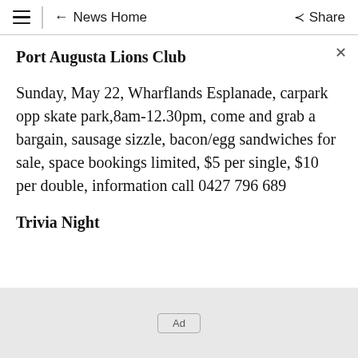≡  ← News Home  Share
Port Augusta Lions Club
Sunday, May 22, Wharflands Esplanade, carpark opp skate park,8am-12.30pm, come and grab a bargain, sausage sizzle, bacon/egg sandwiches for sale, space bookings limited, $5 per single, $10 per double, information call 0427 796 689
Trivia Night